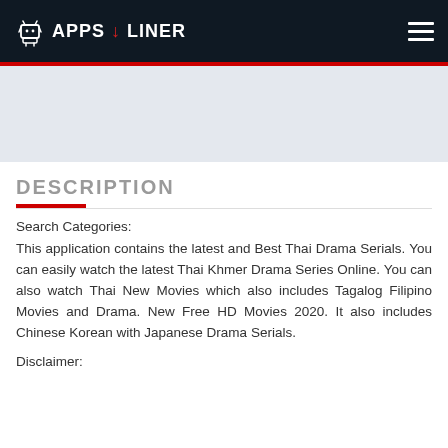APPS LINER
[Figure (logo): AppLiner logo with Android robot icon and hamburger menu on dark navy background]
DESCRIPTION
Search Categories:
This application contains the latest and Best Thai Drama Serials. You can easily watch the latest Thai Khmer Drama Series Online. You can also watch Thai New Movies which also includes Tagalog Filipino Movies and Drama. New Free HD Movies 2020. It also includes Chinese Korean with Japanese Drama Serials.
Disclaimer: